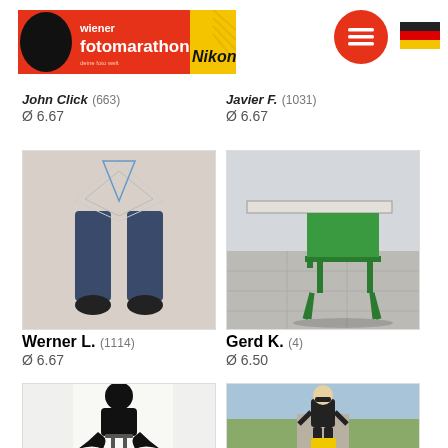[Figure (logo): Wiener Fotomarathon with Nikon logo banner — red/orange background with black silhouette figure, yellow Nikon stripe]
[Figure (other): Red circle hamburger menu button with three white lines]
[Figure (other): German flag (black, red, gold horizontal stripes)]
John Click (663)
Ø 6.67
Javier F. (1031)
Ø 6.67
[Figure (photo): Overhead view of a person's legs and feet standing on a patterned surface, wearing jeans and dark shoes]
[Figure (photo): Green metal chair next to a table on a stone pavement outdoors]
Werner L. (1114)
Ø 6.67
Gerd K. (4)
Ø 6.50
[Figure (photo): Silhouette of a person sitting on a stool with dark feathery garment in a bright white room]
[Figure (photo): Child wearing all black outfit and yellow rubber boots bending forward on a stone path outdoors]